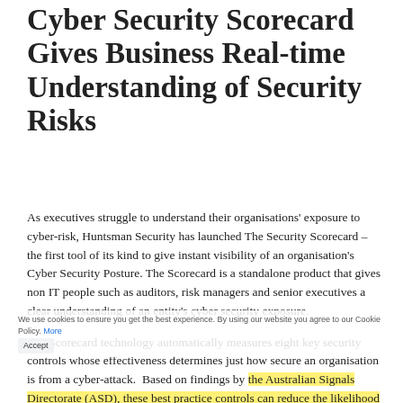Cyber Security Scorecard Gives Business Real-time Understanding of Security Risks
As executives struggle to understand their organisations' exposure to cyber-risk, Huntsman Security has launched The Security Scorecard – the first tool of its kind to give instant visibility of an organisation's Cyber Security Posture. The Scorecard is a standalone product that gives non IT people such as auditors, risk managers and senior executives a clear understanding of an entity's cyber security exposure.
The Scorecard technology automatically measures eight key security controls whose effectiveness determines just how secure an organisation is from a cyber-attack. Based on findings by the Australian Signals Directorate (ASD), these best practice controls can reduce the likelihood of a cyber-attack by more than 85 percent.